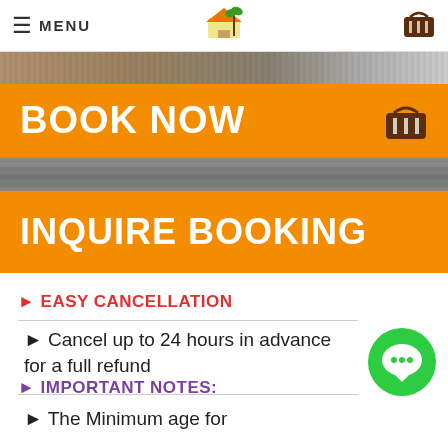≡ MENU [logo] [cart icon]
[Figure (photo): Sandy/rocky beach or outdoor surface photo strip]
BOOK NOW
[Figure (photo): Second photo strip - rocky surface]
INQUIRE BOOKING
► EASY CANCELLATION
► Cancel up to 24 hours in advance for a full refund
► IMPORTANT NOTES:
► The Minimum age for